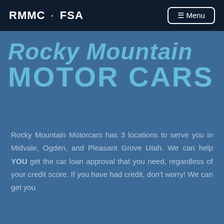RMMC · FSA
Rocky Mountain MOTOR CARS
Rocky Mountain Motorcars has 3 locations to serve you in Midvale, Ogden, and Pleasant Grove Utah. We can help YOU get the car loan approval that you need, regardless of your credit score. If you have had credit, don't worry! We can get you